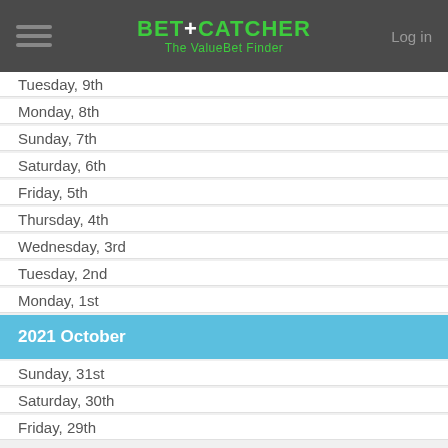BET+CATCHER The ValueBet Finder | Log in
Tuesday, 9th
Monday, 8th
Sunday, 7th
Saturday, 6th
Friday, 5th
Thursday, 4th
Wednesday, 3rd
Tuesday, 2nd
Monday, 1st
2021 October
Sunday, 31st
Saturday, 30th
Friday, 29th